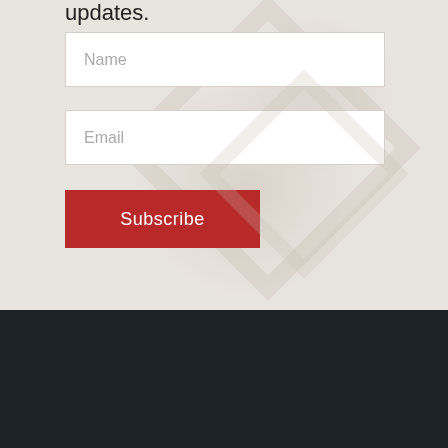updates.
Name
Email
Subscribe
Become a Member of the ASAA
Becoming a member to receive exclusive access to: